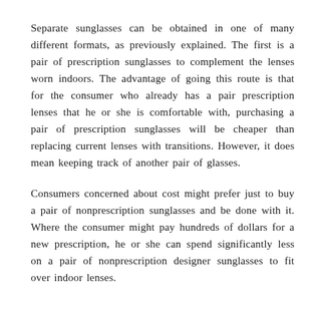Separate sunglasses can be obtained in one of many different formats, as previously explained. The first is a pair of prescription sunglasses to complement the lenses worn indoors. The advantage of going this route is that for the consumer who already has a pair prescription lenses that he or she is comfortable with, purchasing a pair of prescription sunglasses will be cheaper than replacing current lenses with transitions. However, it does mean keeping track of another pair of glasses.
Consumers concerned about cost might prefer just to buy a pair of nonprescription sunglasses and be done with it. Where the consumer might pay hundreds of dollars for a new prescription, he or she can spend significantly less on a pair of nonprescription designer sunglasses to fit over indoor lenses.